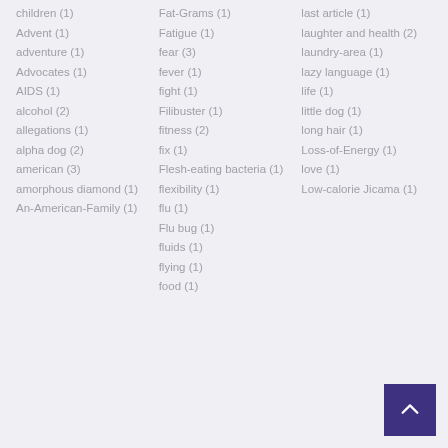children (1)
Advent (1)
adventure (1)
Advocates (1)
AIDS (1)
alcohol (2)
allegations (1)
alpha dog (2)
american (3)
amorphous diamond (1)
An-American-Family (1)
Fat-Grams (1)
Fatigue (1)
fear (3)
fever (1)
fight (1)
Filibuster (1)
fitness (2)
fix (1)
Flesh-eating bacteria (1)
flexibility (1)
flu (1)
Flu bug (1)
fluids (1)
flying (1)
food (1)
last article (1)
laughter and health (2)
laundry-area (1)
lazy language (1)
life (1)
little dog (1)
long hair (1)
Loss-of-Energy (1)
love (1)
Low-calorie Jicama (1)